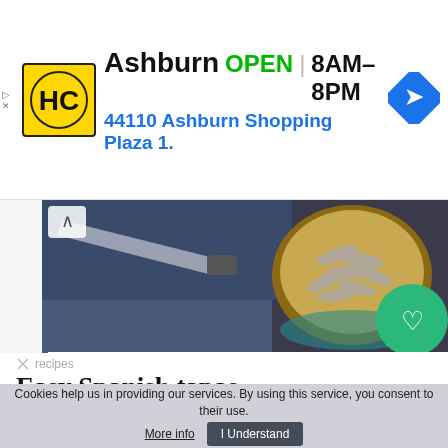[Figure (screenshot): Advertisement banner for HC store in Ashburn showing logo, open hours 8AM-8PM, address, and navigation icon]
[Figure (photo): Hero food photo showing a knife, dried anchovies or small fish in a bowl, on a wooden surface]
recipes
Easy Spanish tapas
[Figure (infographic): Four orange star rating icons]
...well. Since you are preparing garlic prawns or mushrooms with garlic infused oil, you can cram in the ... bowl scraping in oil in the skillet. -- -- Garlic mushrooms -- First of all, the mushrooms must be halved or ... -- The only difference is that you have to cook mushrooms
Cookies help us in providing our services. By using this service, you consent to their use. More info   I Understand